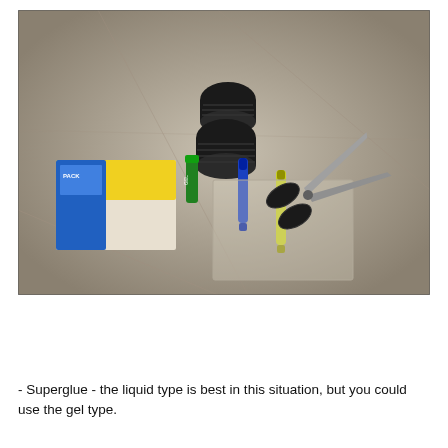[Figure (photo): Overhead photo on a beige/grey cloth background showing craft supplies: two black coiled/cylindrical objects (possibly RC car parts), a packet of screws or fasteners with blue packaging, a small green tube (superglue), a blue marker, a yellow/green marker, a rectangular piece of clear plastic sheet, and a pair of black scissors.]
- Superglue - the liquid type is best in this situation, but you could use the gel type.